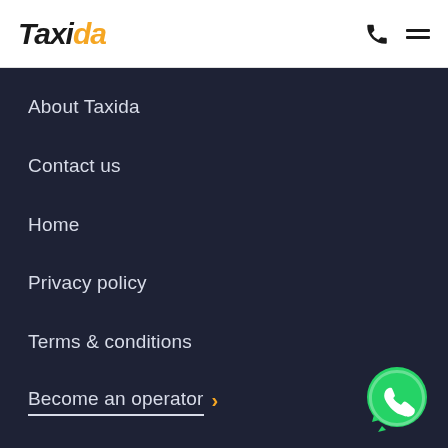Taxida
About Taxida
Contact us
Home
Privacy policy
Terms & conditions
Become an operator